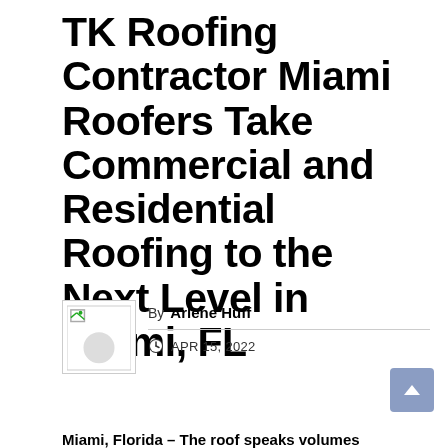TK Roofing Contractor Miami Roofers Take Commercial and Residential Roofing to the Next Level in Miami, FL
By Arlene Huff  APR 15, 2022
Miami, Florida – The roof speaks volumes